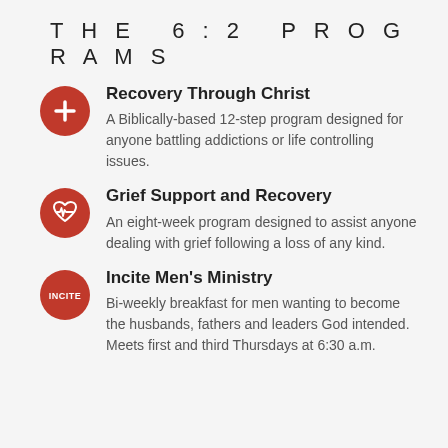THE 6:2 PROGRAMS
Recovery Through Christ — A Biblically-based 12-step program designed for anyone battling addictions or life controlling issues.
Grief Support and Recovery — An eight-week program designed to assist anyone dealing with grief following a loss of any kind.
Incite Men's Ministry — Bi-weekly breakfast for men wanting to become the husbands, fathers and leaders God intended. Meets first and third Thursdays at 6:30 a.m.